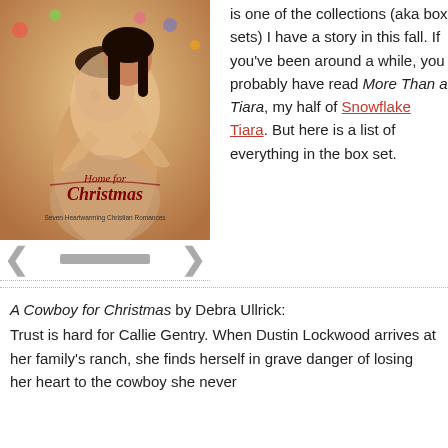[Figure (illustration): Book cover for 'Home for Christmas: Seven Heartwarming Christian Romances' showing a smiling couple (woman hugging man from behind) in front of Christmas decorations, with navigation arrows and a progress bar below.]
is one of the collections (aka box sets) I have a story in this fall. If you've been around a while, you probably have read More Than a Tiara, my half of Snowflake Tiara. But here is a list of everything in the box set.
A Cowboy for Christmas by Debra Ullrick:
Trust is hard for Callie Gentry. When Dustin Lockwood arrives at her family's ranch, she finds herself in grave danger of losing her heart to the cowboy she never